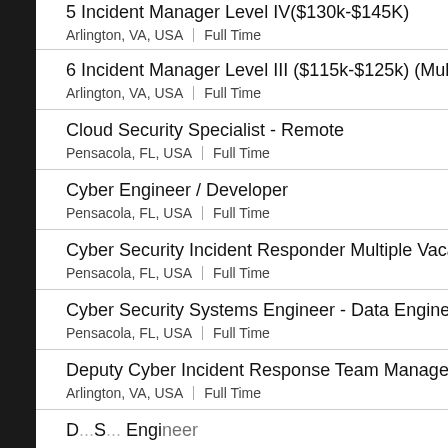5 Incident Manager Level IV($130k-$145k)
Arlington, VA, USA | Full Time
6 Incident Manager Level III ($115k-$125k) (Multiple Vacancies)
Arlington, VA, USA | Full Time
Cloud Security Specialist - Remote
Pensacola, FL, USA | Full Time
Cyber Engineer / Developer
Pensacola, FL, USA | Full Time
Cyber Security Incident Responder Multiple Vacancies
Pensacola, FL, USA | Full Time
Cyber Security Systems Engineer - Data Engineer
Pensacola, FL, USA | Full Time
Deputy Cyber Incident Response Team Manager
Arlington, VA, USA | Full Time
D...S...O... Engineer